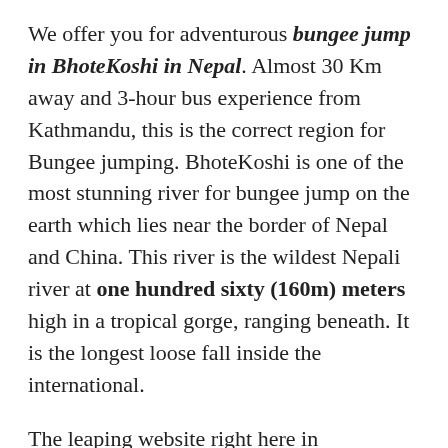We offer you for adventurous bungee jump in BhoteKoshi in Nepal. Almost 30 Km away and 3-hour bus experience from Kathmandu, this is the correct region for Bungee jumping. BhoteKoshi is one of the most stunning river for bungee jump on the earth which lies near the border of Nepal and China. This river is the wildest Nepali river at one hundred sixty (160m) meters high in a tropical gorge, ranging beneath. It is the longest loose fall inside the international.
The leaping website right here in BhoteKoshi become designed by using one of New Zealand's pinnacle Bungee expert additionally, some of